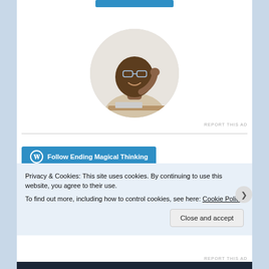[Figure (photo): Circular profile photo of a man wearing glasses and a beige t-shirt, sitting at a desk looking upward and smiling, resting chin on hand]
REPORT THIS AD
[Figure (other): WordPress follow button: Follow Ending Magical Thinking]
Privacy & Cookies: This site uses cookies. By continuing to use this website, you agree to their use.
To find out more, including how to control cookies, see here: Cookie Policy
Close and accept